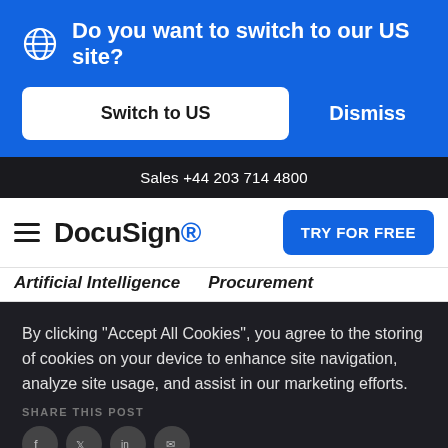Do you want to switch to our US site?
Switch to US
Dismiss
Sales +44 203 714 4800
[Figure (logo): DocuSign logo with hamburger menu icon on left and TRY FOR FREE button on right]
Artificial Intelligence   Procurement
By clicking “Accept All Cookies”, you agree to the storing of cookies on your device to enhance site navigation, analyze site usage, and assist in our marketing efforts.
SHARE THIS POST
Cookies Settings
Accept All Cookies